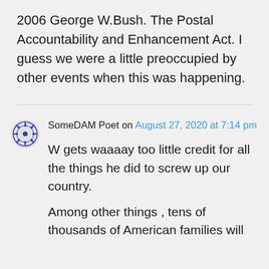2006 George W.Bush. The Postal Accountability and Enhancement Act. I guess we were a little preoccupied by other events when this was happening.
SomeDAM Poet on August 27, 2020 at 7:14 pm
W gets waaaay too little credit for all the things he did to screw up our country.
Among other things , tens of thousands of American families will